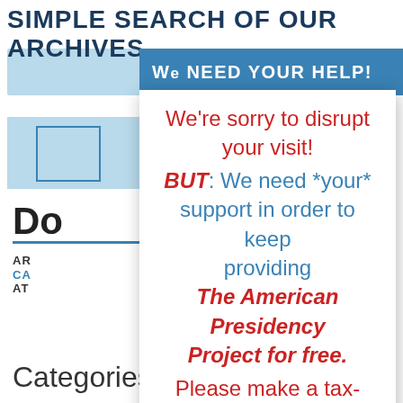SIMPLE SEARCH OF OUR ARCHIVES
WE NEED YOUR HELP!
[Figure (screenshot): Background of a website search page with blue banner, search bar, and document listing sections including 'Do', 'Categories' text and colored divider lines]
We're sorry to disrupt your visit! BUT: We need *your* support in order to keep providing The American Presidency Project for free. Please make a tax-deductible gift! Every gift